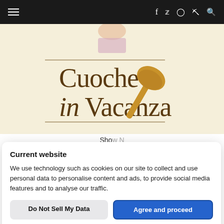Navigation bar with hamburger menu, social icons (f, twitter, instagram, pinterest) and search
[Figure (logo): Cuoche in Vacanza website logo on cream/beige background with a golden ladle spoon and partial figure of a person at top]
Sho... N...
Current website
We use technology such as cookies on our site to collect and use personal data to personalise content and ads, to provide social media features and to analyse our traffic.
Do Not Sell My Data
Agree and proceed
Powered by  🛡niConsent